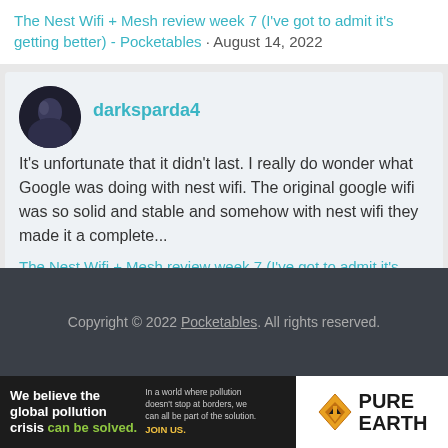The Nest Wifi + Mesh review week 7 (I've got to admit it's getting better) - Pocketables · August 14, 2022
darksparda4
It's unfortunate that it didn't last. I really do wonder what Google was doing with nest wifi. The original google wifi was so solid and stable and somehow with nest wifi they made it a complete...
The Nest Wifi + Mesh review week 7 (I've got to admit it's getting better) - Pocketables · August 14, 2022
Copyright © 2022 Pocketables. All rights reserved.
[Figure (infographic): Pure Earth advertisement banner: 'We believe the global pollution crisis can be solved. In a world where pollution doesn't stop at borders, we can all be part of the solution. JOIN US.' with Pure Earth logo on the right.]